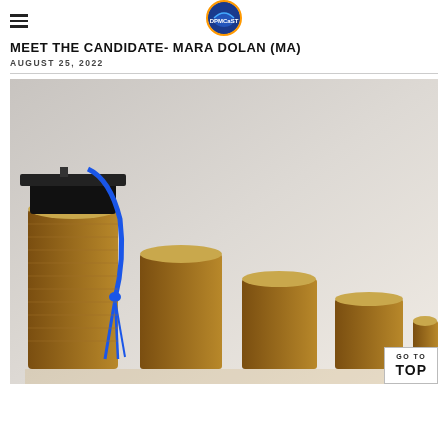DPMCaST logo and hamburger menu
Meet the Candidate- Mara Dolan (MA)
AUGUST 25, 2022
[Figure (photo): A graduation cap with blue tassel resting on stacks of coins arranged in ascending height order, symbolizing educational funding or student debt.]
GO TO TOP